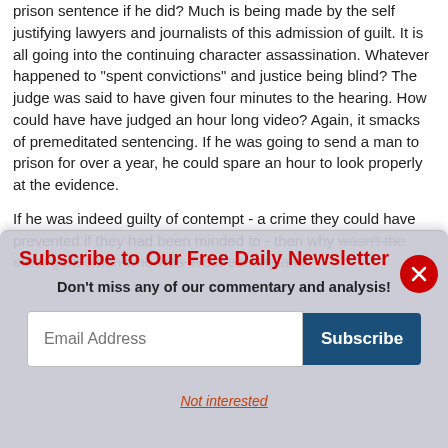prison sentence if he did? Much is being made by the self justifying lawyers and journalists of this admission of guilt. It is all going into the continuing character assassination. Whatever happened to "spent convictions" and justice being blind? The judge was said to have given four minutes to the hearing. How could have have judged an hour long video? Again, it smacks of premeditated sentencing. If he was going to send a man to prison for over a year, he could spare an hour to look properly at the evidence.
If he was indeed guilty of contempt - a crime they could have prevented if they had been minded to - then why wasn't the other gentleman who was livestreaming and
[Figure (other): Newsletter subscription modal overlay with title 'Subscribe to Our Free Daily Newsletter', subtitle 'Don't miss any of our commentary and analysis!', an email address input field, a Subscribe button, a close (X) button, and a 'Not interested' link.]